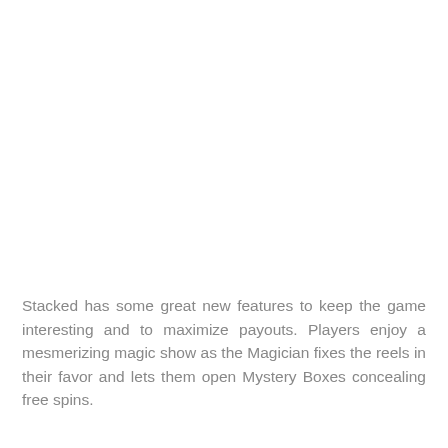Stacked has some great new features to keep the game interesting and to maximize payouts. Players enjoy a mesmerizing magic show as the Magician fixes the reels in their favor and lets them open Mystery Boxes concealing free spins.